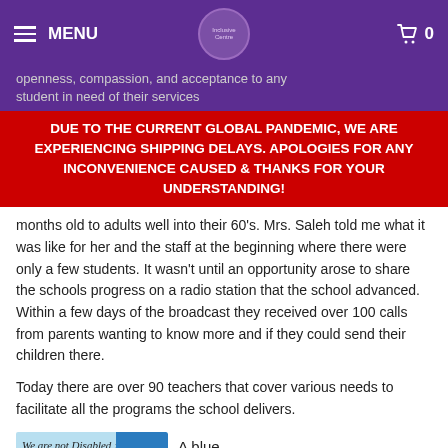MENU  [logo]  0
openness, compassion, and acceptance to any student in need of their services
DUE TO THE CURRENT GLOBAL PANDEMIC, WE ARE EXPERIENCING SHIPPING DELAYS. APOLOGIES FOR ANY INCONVENIENCE CAUSED & THANKS FOR YOUR UNDERSTANDING!
months old to adults well into their 60's. Mrs. Saleh told me what it was like for her and the staff at the beginning where there were only a few students. It wasn't until an opportunity arose to share the schools progress on a radio station that the school advanced. Within a few days of the broadcast they received over 100 calls from parents wanting to know more and if they could send their children there.

Today there are over 90 teachers that cover various needs to facilitate all the programs the school delivers.
[Figure (photo): Image with text 'We are not Disabled;' and a blue rose on a light blue background]
A blue rose